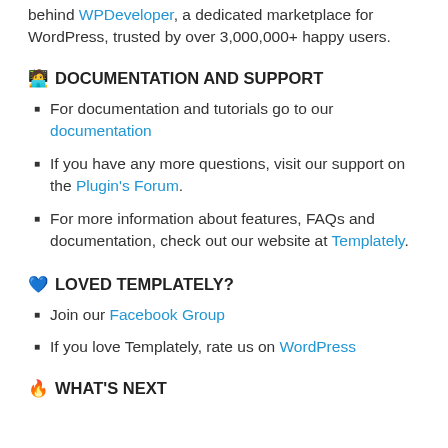behind WPDeveloper, a dedicated marketplace for WordPress, trusted by over 3,000,000+ happy users.
🧑‍💻 DOCUMENTATION AND SUPPORT
For documentation and tutorials go to our documentation
If you have any more questions, visit our support on the Plugin's Forum.
For more information about features, FAQs and documentation, check out our website at Templately.
💙 LOVED TEMPLATELY?
Join our Facebook Group
If you love Templately, rate us on WordPress
🔥 WHAT'S NEXT